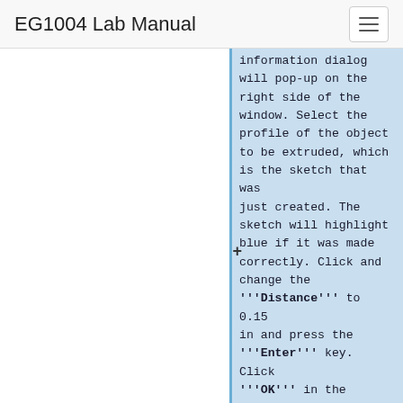EG1004 Lab Manual
information dialog will pop-up on the right side of the window. Select the profile of the object to be extruded, which is the sketch that was just created. The sketch will highlight blue if it was made correctly. Click and change the '''Distance''' to 0.15 in and press the '''Enter''' key. Click '''OK''' in the '''Extrude''' information dialog. The model will look